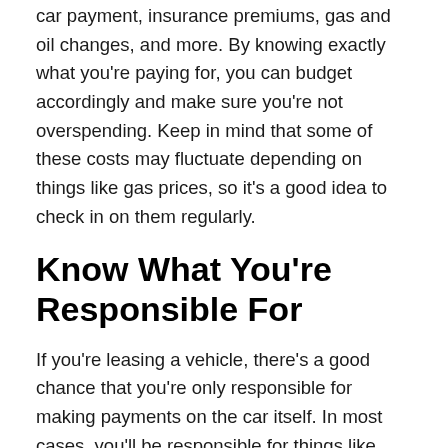car payment, insurance premiums, gas and oil changes, and more. By knowing exactly what you're paying for, you can budget accordingly and make sure you're not overspending. Keep in mind that some of these costs may fluctuate depending on things like gas prices, so it's a good idea to check in on them regularly.
Know What You're Responsible For
If you're leasing a vehicle, there's a good chance that you're only responsible for making payments on the car itself. In most cases, you'll be responsible for things like insurance, maintenance, and cleaning. It's important to know what you're responsible for so that you can budget accordingly. Insurance is one of the bigger expenses related to your auto each month, so get friendly with your costs by pulling in...